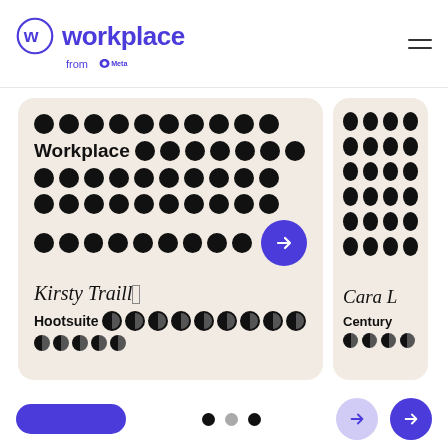[Figure (logo): Workplace from Meta logo - purple W in circle with 'workplace' text and 'from Meta' below]
[Figure (screenshot): Testimonial cards carousel showing Kirsty Traill from Hootsuite testimonial card with redacted text shown as black dots, and a partially visible second card for Cara L from Century. A purple arrow button navigates between cards. Navigation dots and arrows at bottom.]